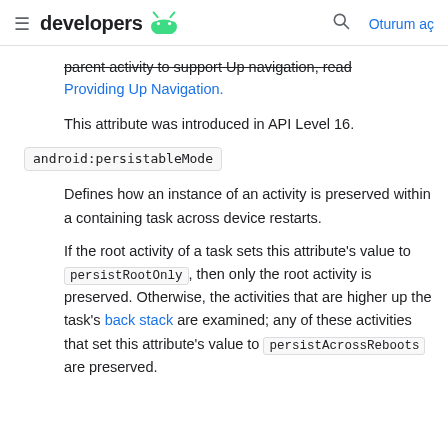developers (android logo) | search | Oturum aç
parent activity to support Up navigation, read Providing Up Navigation.
This attribute was introduced in API Level 16.
android:persistableMode
Defines how an instance of an activity is preserved within a containing task across device restarts.
If the root activity of a task sets this attribute's value to persistRootOnly, then only the root activity is preserved. Otherwise, the activities that are higher up the task's back stack are examined; any of these activities that set this attribute's value to persistAcrossReboots are preserved.